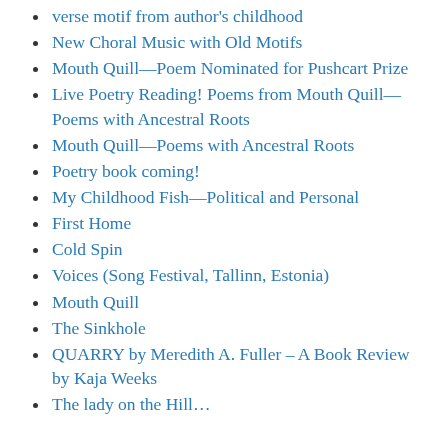verse motif from author's childhood
New Choral Music with Old Motifs
Mouth Quill—Poem Nominated for Pushcart Prize
Live Poetry Reading! Poems from Mouth Quill—Poems with Ancestral Roots
Mouth Quill—Poems with Ancestral Roots
Poetry book coming!
My Childhood Fish—Political and Personal
First Home
Cold Spin
Voices (Song Festival, Tallinn, Estonia)
Mouth Quill
The Sinkhole
QUARRY by Meredith A. Fuller – A Book Review by Kaja Weeks
The lady on the Hill…